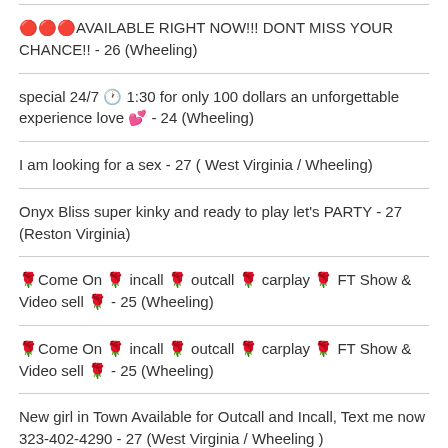🔴🔴🔴AVAILABLE RIGHT NOW!!! DONT MISS YOUR CHANCE!! - 26 (Wheeling)
special 24/7 🕐 1:30 for only 100 dollars an unforgettable experience love 💕 - 24 (Wheeling)
I am looking for a sex - 27 ( West Virginia / Wheeling)
Onyx Bliss super kinky and ready to play let's PARTY - 27 (Reston Virginia)
🌹Come On 🌹 incall 🌹 outcall 🌹 carplay 🌹 FT Show & Video sell 🌹 - 25 (Wheeling)
🌹Come On 🌹 incall 🌹 outcall 🌹 carplay 🌹 FT Show & Video sell 🌹 - 25 (Wheeling)
New girl in Town Available for Outcall and Incall, Text me now 323-402-4290 - 27 (West Virginia / Wheeling )